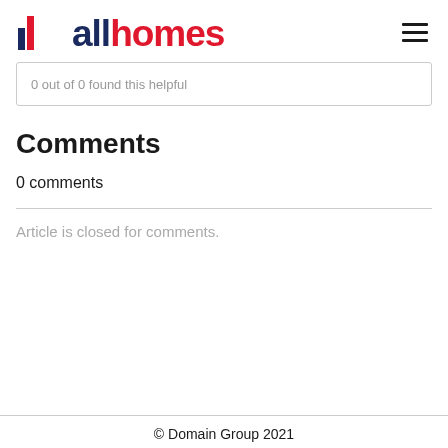allhomes
0 out of 0 found this helpful
Comments
0 comments
Article is closed for comments.
© Domain Group 2021